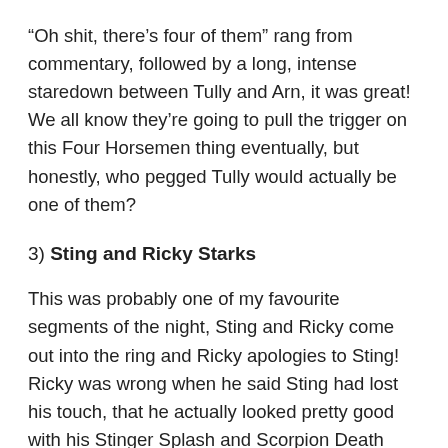“Oh shit, there’s four of them” rang from commentary, followed by a long, intense staredown between Tully and Arn, it was great! We all know they’re going to pull the trigger on this Four Horsemen thing eventually, but honestly, who pegged Tully would actually be one of them?
3) Sting and Ricky Starks
This was probably one of my favourite segments of the night, Sting and Ricky come out into the ring and Ricky apologies to Sting! Ricky was wrong when he said Sting had lost his touch, that he actually looked pretty good with his Stinger Splash and Scorpion Death Drop, but it doesn’t matter, because he’s still